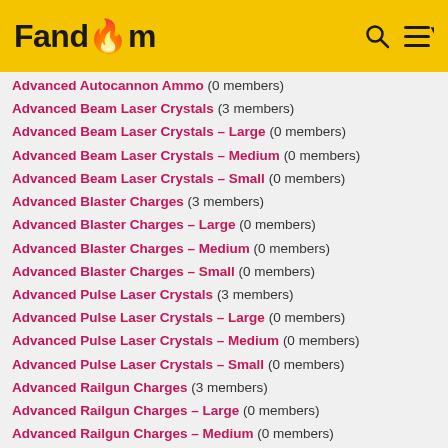Fandom
Advanced Autocannon Ammo (0 members)
Advanced Beam Laser Crystals (3 members)
Advanced Beam Laser Crystals – Large (0 members)
Advanced Beam Laser Crystals – Medium (0 members)
Advanced Beam Laser Crystals – Small (0 members)
Advanced Blaster Charges (3 members)
Advanced Blaster Charges – Large (0 members)
Advanced Blaster Charges – Medium (0 members)
Advanced Blaster Charges – Small (0 members)
Advanced Pulse Laser Crystals (3 members)
Advanced Pulse Laser Crystals – Large (0 members)
Advanced Pulse Laser Crystals – Medium (0 members)
Advanced Pulse Laser Crystals – Small (0 members)
Advanced Railgun Charges (3 members)
Advanced Railgun Charges – Large (0 members)
Advanced Railgun Charges – Medium (0 members)
Advanced Railgun Charges – Small (0 members)
Afterburners (0 members)
Alliances (12 members)
Alloys & Compounds (12 members)
Amarr (23 members)
Amarr Equipment (3 members)